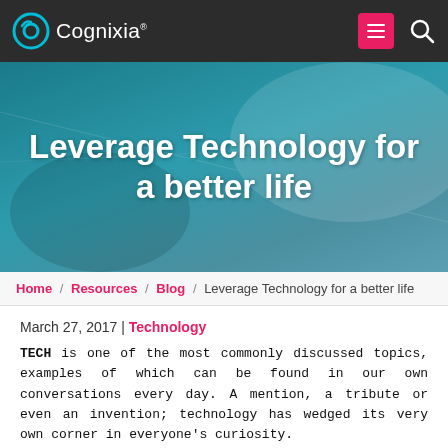[Figure (logo): Cognixia logo with teal circular icon and white text on dark navbar, with hamburger menu button and search icon]
Leverage Technology for a better life
Home / Resources / Blog / Leverage Technology for a better life
March 27, 2017 | Technology
TECH is one of the most commonly discussed topics, examples of which can be found in our own conversations every day. A mention, a tribute or even an invention; technology has wedged its very own corner in everyone’s curiosity.
It has changed the way we look at things or even people for that matter.
Our lives are filled with a display of such consumptions that overlooked in the light of the day but without which existence to